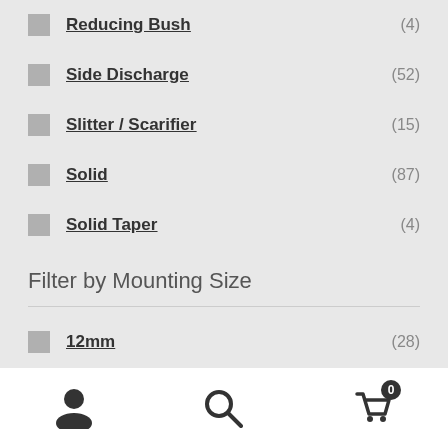Reducing Bush (4)
Side Discharge (52)
Slitter / Scarifier (15)
Solid (87)
Solid Taper (4)
Filter by Mounting Size
12mm (28)
3/4" (19mm) (30)
3/8" (9.5mm) (23)
Navigation icons: user, search, cart (0)